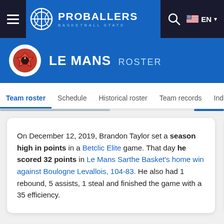PROBALLERS BASKETBALL STATS
LE MANS ROSTER
Team roster  Schedule  Historical roster  Team records  Individual records
On December 12, 2019, Brandon Taylor set a season high in points in a Betclic Elite game. That day he scored 32 points in Le Mans Sarthe Basket's home win against Boulogne Levallois, 104-83. He also had 1 rebound, 5 assists, 1 steal and finished the game with a 35 efficiency.
On Jan... season... game. T... Mans Sa... 92, 79-8... finished...